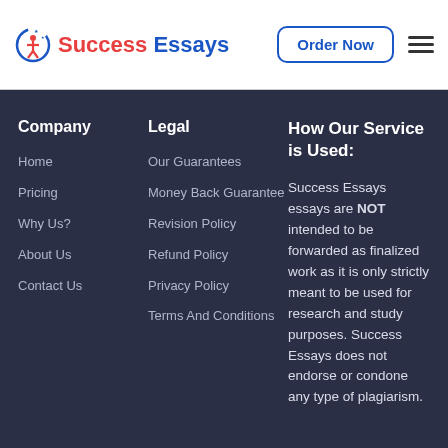[Figure (logo): Success Essays logo with a stylized figure icon in red/blue and the text 'Success Essays' in red and blue.]
Order Now
Company
Legal
How Our Service is Used:
Home
Pricing
Why Us?
About Us
Contact Us
Our Guarantees
Money Back Guarantee
Revision Policy
Refund Policy
Privacy Policy
Terms And Conditions
Success Essays essays are NOT intended to be forwarded as finalized work as it is only strictly meant to be used for research and study purposes. Success Essays does not endorse or condone any type of plagiarism.